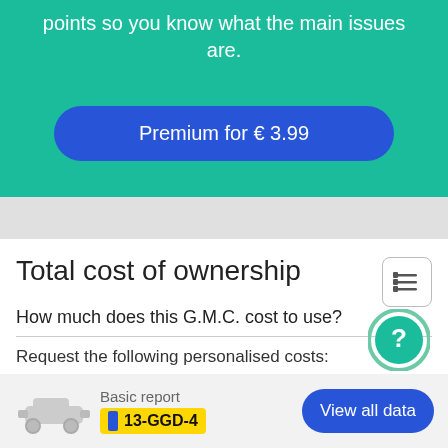points so you know what the main issues are.
Premium for € 3.99
Total cost of ownership
How much does this G.M.C. cost to use?
Request the following personalised costs:
• Maintenance costs
Basic report
13-GGD-4
View all data